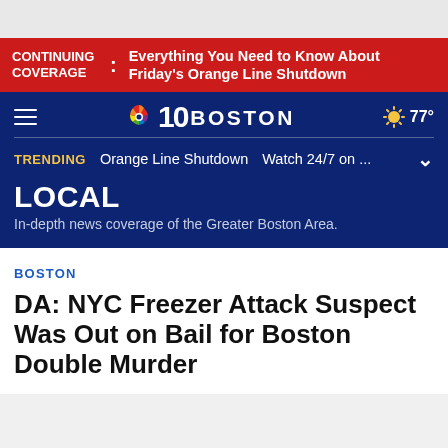CONTINUING COVERAGE : Everything You Need to Know About Friday's Orange Line Shutdown
[Figure (screenshot): NBC 10 Boston website header with navy blue background, hamburger menu, NBC peacock logo, '10 BOSTON' text, and weather widget showing 77°]
TRENDING  Orange Line Shutdown  Watch 24/7 on ...
LOCAL
In-depth news coverage of the Greater Boston Area.
BOSTON
DA: NYC Freezer Attack Suspect Was Out on Bail for Boston Double Murder